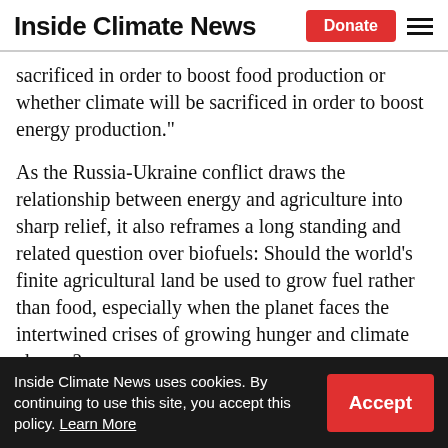Inside Climate News | Donate
sacrificed in order to boost food production or whether climate will be sacrificed in order to boost energy production.”
As the Russia-Ukraine conflict draws the relationship between energy and agriculture into sharp relief, it also reframes a long standing and related question over biofuels: Should the world’s finite agricultural land be used to grow fuel rather than food, especially when the planet faces the intertwined crises of growing hunger and climate change?
“There is less land than there is demand for the
Inside Climate News uses cookies. By continuing to use this site, you accept this policy. Learn More